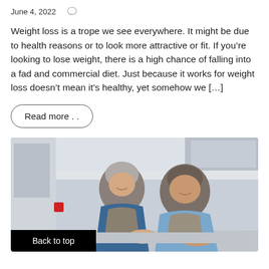June 4, 2022
Weight loss is a trope we see everywhere. It might be due to health reasons or to look more attractive or fit. If you’re looking to lose weight, there is a high chance of falling into a fad and commercial diet. Just because it works for weight loss doesn’t mean it’s healthy, yet somehow we […]
Read more . .
[Figure (photo): An older couple smiling and leaning over a kitchen counter together, the woman wearing a blue top and apron, the man in a light blue shirt, in a bright kitchen setting.]